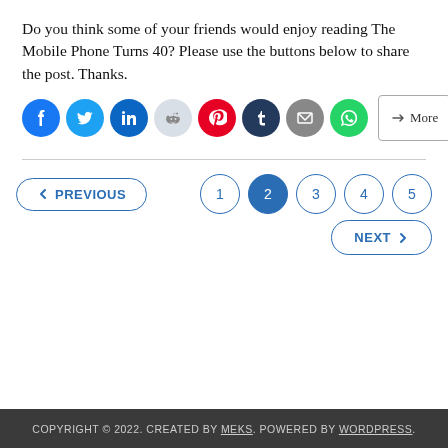Do you think some of your friends would enjoy reading The Mobile Phone Turns 40? Please use the buttons below to share the post. Thanks.
[Figure (infographic): Row of social media share buttons: Facebook, Twitter, LinkedIn, Reddit, Pinterest, Tumblr, Email, WhatsApp, and a More button]
[Figure (infographic): Pagination controls: PREVIOUS button, page numbers 1, 2 (active/highlighted), 3, 4, 5, and NEXT button]
COPYRIGHT © 2022. CREATED BY MEKS. POWERED BY WORDPRESS.